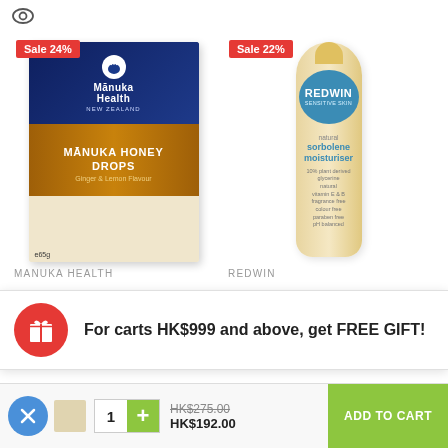[Figure (photo): Manuka Health Manuka Honey Drops Ginger & Lemon Flavour 65g product box with Sale 24% badge]
[Figure (photo): Redwin Sensitive Skin natural sorbolene moisturiser tube with Sale 22% badge]
MANUKA HEALTH
REDWIN
For carts HK$999 and above, get FREE GIFT!
Swisse Ultaboost Vitamin D 60 Capsules
1
HK$275.00
HK$192.00
ADD TO CART